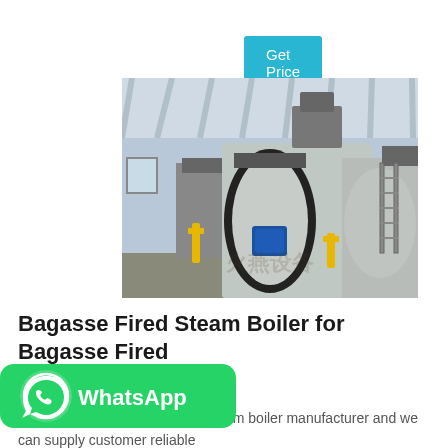Get Price
[Figure (photo): Industrial steam boilers in a factory/warehouse setting. Large cylindrical silver boilers with yellow piping, black front panels, and a blue variable frequency drive unit visible. A metal access stairway is on the right side. The facility has a white ribbed ceiling.]
Bagasse Fired Steam Boiler for Bagasse Fired
[Figure (logo): WhatsApp button: green rounded rectangle with white WhatsApp phone icon and text 'WhatsApp' in white bold font.]
ZG Boiler is the bagasse fired steam boiler manufacturer and we can supply customer reliable